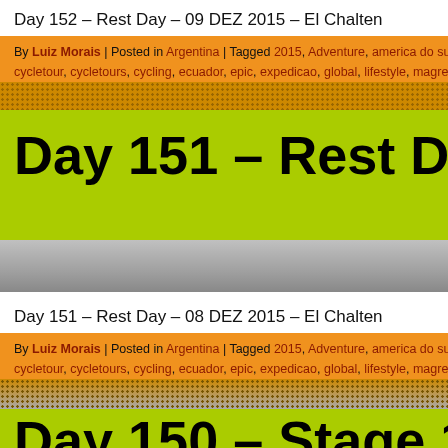Day 152 – Rest Day – 09 DEZ 2015 – El Chalten
By Luiz Morais | Posted in Argentina | Tagged 2015, Adventure, america do sul, ameri… cycletour, cycletours, cycling, ecuador, epic, expedicao, global, lifestyle, magrela, mo…
[Figure (illustration): Halftone dot pattern transition bar in orange/brown]
[Figure (illustration): Large bold black text on lime green background: Day 151 – Rest Day – 08 DEZ 20… (cropped)]
[Figure (photo): Gray image thumbnail area]
Day 151 – Rest Day – 08 DEZ 2015 – El Chalten
By Luiz Morais | Posted in Argentina | Tagged 2015, Adventure, america do sul, ameri… cycletour, cycletours, cycling, ecuador, epic, expedicao, global, lifestyle, magrela, mo…
[Figure (photo): Partial photo thumbnail in gray tones at bottom]
[Figure (illustration): Lime green block with large bold text beginning: Day 150 – Stage 110 – 07 DEZ 2… (cropped)]